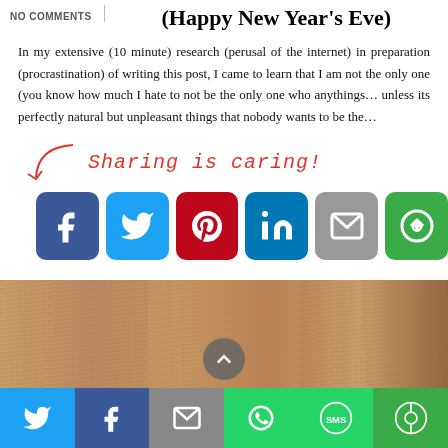NO COMMENTS
(Happy New Year's Eve)
In my extensive (10 minute) research (perusal of the internet) in preparation (procrastination) of writing this post, I came to learn that I am not the only one (you know how much I hate to not be the only one who anythings… unless its perfectly natural but unpleasant things that nobody wants to be the…
[Figure (infographic): Sharing is caring! social share buttons: Facebook, Twitter, Pinterest, LinkedIn, Email, More]
[Figure (photo): Photo of a woman with long blonde hair and pearl necklace]
[Figure (infographic): Bottom mobile share bar with Twitter, Facebook, Email, WhatsApp, SMS, More icons]